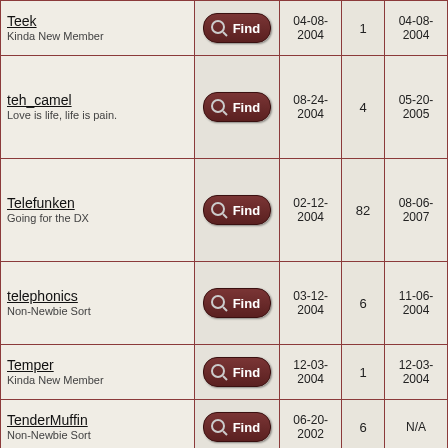| User | Find | Joined | Posts | Last Post |
| --- | --- | --- | --- | --- |
| Teek
Kinda New Member | Find | 04-08-2004 | 1 | 04-08-2004 |
| teh_camel
Love is life, life is pain. | Find | 08-24-2004 | 4 | 05-20-2005 |
| Telefunken
Going for the DX | Find | 02-12-2004 | 82 | 08-06-2007 |
| telephonics
Non-Newbie Sort | Find | 03-12-2004 | 6 | 11-06-2004 |
| Temper
Kinda New Member | Find | 12-03-2004 | 1 | 12-03-2004 |
| TenderMuffin
Non-Newbie Sort | Find | 06-20-2002 | 6 | N/A |
| Tengil
Kinda New Member | Find | 05-19-2005 | 1 | 05-19-2005 |
| Tennyson789 | Find | 02-01- | ? | 02-03- |